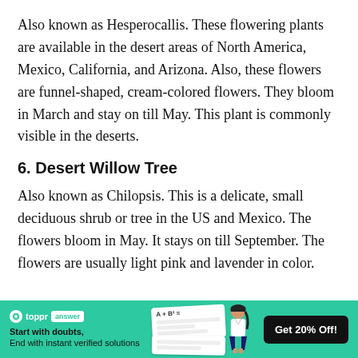Also known as Hesperocallis. These flowering plants are available in the desert areas of North America, Mexico, California, and Arizona. Also, these flowers are funnel-shaped, cream-colored flowers. They bloom in March and stay on till May. This plant is commonly visible in the deserts.
6. Desert Willow Tree
Also known as Chilopsis. This is a delicate, small deciduous shrub or tree in the US and Mexico. The flowers bloom in May. It stays on till September. The flowers are usually light pink and lavender in color.
[Figure (infographic): Toppr answer app advertisement banner with green background, logo, tagline 'Start with doubts, End with instant verified solutions', a card/notebook graphic, a girl student, and 'Get 20% Off!' button.]